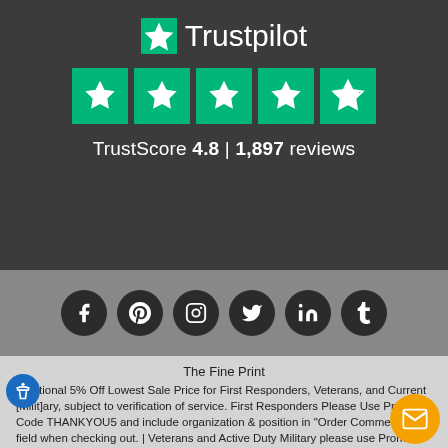[Figure (logo): Trustpilot logo with green star and text, five green star rating blocks, TrustScore 4.8 | 1,897 reviews on dark background]
[Figure (infographic): Six social media icons (Facebook, Pinterest, Instagram, Twitter, LinkedIn, Tumblr) as white icons on dark circles, on grey background]
The Fine Print
Additional 5% Off Lowest Sale Price for First Responders, Veterans, and Current [Milit]ary, subject to verification of service. First Responders Please Use Promo Code THANKYOU5 and include organization & position in "Order Comments" field when checking out. | Veterans and Active Duty Military please use Promo Code VETERAN5 and state Branch, Grade & Discharge Classification (if applic[able] in) "Order Comments" field when checking out.